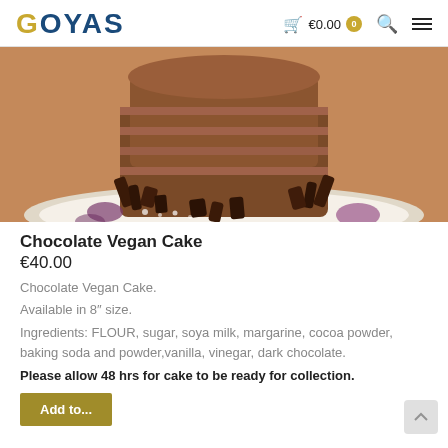GOYAS  €0.00  0
[Figure (photo): Close-up photo of a layered chocolate vegan cake on a plate, with chocolate shavings and powdered sugar around the base, showing the side and top of the cake with chocolate frosting.]
Chocolate Vegan Cake
€40.00
Chocolate Vegan Cake.
Available in 8″ size.
Ingredients: FLOUR, sugar, soya milk, margarine, cocoa powder, baking soda and powder,vanilla, vinegar, dark chocolate.
Please allow 48 hrs for cake to be ready for collection.